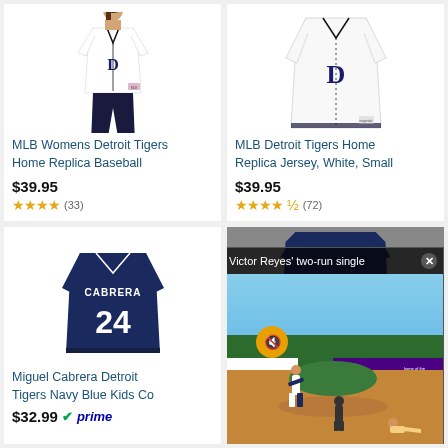[Figure (photo): Woman wearing Detroit Tigers white home replica baseball jersey]
MLB Womens Detroit Tigers Home Replica Baseball
$39.95
★★★★ (33)
[Figure (photo): Detroit Tigers white home replica jersey on white background]
MLB Detroit Tigers Home Replica Jersey, White, Small
$39.95
★★★★½ (72)
[Figure (photo): Miguel Cabrera #24 Detroit Tigers navy blue kids jersey]
Miguel Cabrera Detroit Tigers Navy Blue Kids Co
$32.99
[Figure (screenshot): Video overlay: Victor Reyes two-run single baseball game footage showing players at home plate with stadium ads for Mercy, planet fitness, and home of the judgement free zone]